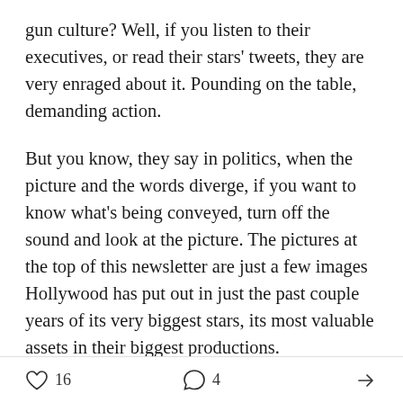gun culture? Well, if you listen to their executives, or read their stars' tweets, they are very enraged about it. Pounding on the table, demanding action.
But you know, they say in politics, when the picture and the words diverge, if you want to know what's being conveyed, turn off the sound and look at the picture. The pictures at the top of this newsletter are just a few images Hollywood has put out in just the past couple years of its very biggest stars, its most valuable assets in their biggest productions.
So let's be clear and set aside Straw Man Argument #1 — I'm not saying there's 1 to 1 correlation here
16   4